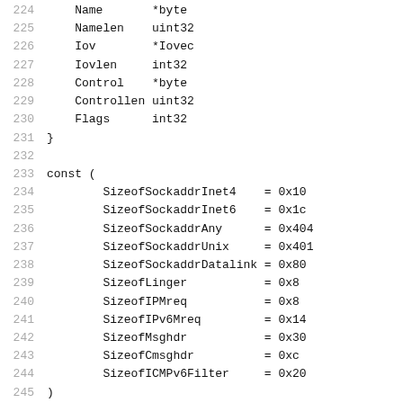224     Name       *byte
225     Namelen    uint32
226     Iov        *Iovec
227     Iovlen     int32
228     Control    *byte
229     Controllen uint32
230     Flags      int32
231 }
232
233 const (
234         SizeofSockaddrInet4    = 0x10
235         SizeofSockaddrInet6    = 0x1c
236         SizeofSockaddrAny      = 0x404
237         SizeofSockaddrUnix     = 0x401
238         SizeofSockaddrDatalink = 0x80
239         SizeofLinger           = 0x8
240         SizeofIPMreq           = 0x8
241         SizeofIPv6Mreq         = 0x14
242         SizeofMsghdr           = 0x30
243         SizeofCmsghdr          = 0xc
244         SizeofICMPv6Filter     = 0x20
245 )